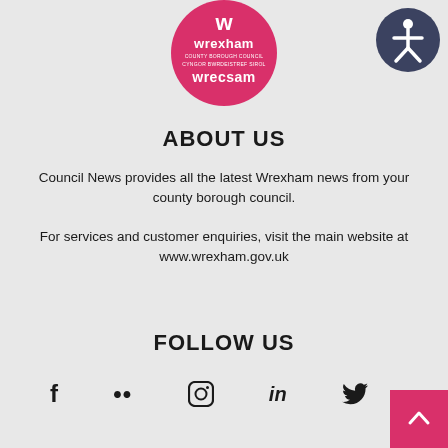[Figure (logo): Wrexham County Borough Council / Wrecsam circular pink logo with white text]
[Figure (logo): Dark grey circle with white accessibility person icon]
ABOUT US
Council News provides all the latest Wrexham news from your county borough council.
For services and customer enquiries, visit the main website at www.wrexham.gov.uk
FOLLOW US
[Figure (infographic): Social media icons row: Facebook, Flickr, Instagram, LinkedIn, Twitter]
[Figure (other): Pink back-to-top button with upward chevron arrow]